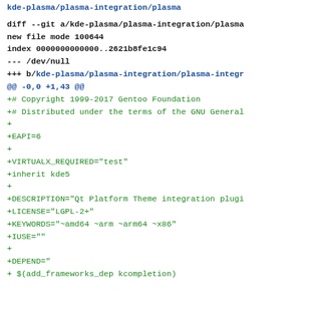kde-plasma/plasma-integration/plasma (partial top)
diff --git a/kde-plasma/plasma-integration/plasma
new file mode 100644
index 0000000000000..2621b8fe1c94
--- /dev/null
+++ b/kde-plasma/plasma-integration/plasma-integr
@@ -0,0 +1,43 @@
+# Copyright 1999-2017 Gentoo Foundation
+# Distributed under the terms of the GNU General
+
+EAPI=6
+
+VIRTUALX_REQUIRED="test"
+inherit kde5
+
+DESCRIPTION="Qt Platform Theme integration plugi
+LICENSE="LGPL-2+"
+KEYWORDS="~amd64 ~arm ~arm64 ~x86"
+IUSE=""
+
+DEPEND="
+ $(add_frameworks_dep kcompletion)